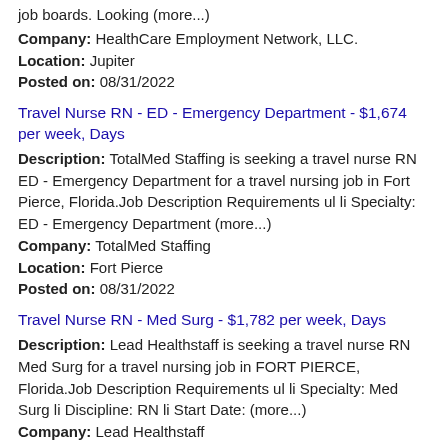job boards. Looking (more...)
Company: HealthCare Employment Network, LLC.
Location: Jupiter
Posted on: 08/31/2022
Travel Nurse RN - ED - Emergency Department - $1,674 per week, Days
Description: TotalMed Staffing is seeking a travel nurse RN ED - Emergency Department for a travel nursing job in Fort Pierce, Florida.Job Description Requirements ul li Specialty: ED - Emergency Department (more...)
Company: TotalMed Staffing
Location: Fort Pierce
Posted on: 08/31/2022
Travel Nurse RN - Med Surg - $1,782 per week, Days
Description: Lead Healthstaff is seeking a travel nurse RN Med Surg for a travel nursing job in FORT PIERCE, Florida.Job Description Requirements ul li Specialty: Med Surg li Discipline: RN li Start Date: (more...)
Company: Lead Healthstaff
Location: Fort Pierce
Posted on: 08/31/2022